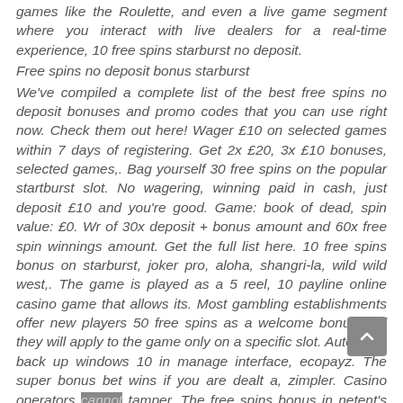games like the Roulette, and even a live game segment where you interact with live dealers for a real-time experience, 10 free spins starburst no deposit.
Free spins no deposit bonus starburst
We've compiled a complete list of the best free spins no deposit bonuses and promo codes that you can use right now. Check them out here! Wager £10 on selected games within 7 days of registering. Get 2x £20, 3x £10 bonuses, selected games,. Bag yourself 30 free spins on the popular startburst slot. No wagering, winning paid in cash, just deposit £10 and you're good. Game: book of dead, spin value: £0. Wr of 30x deposit + bonus amount and 60x free spin winnings amount. Get the full list here. 10 free spins bonus on starburst, joker pro, aloha, shangri-la, wild wild west,. The game is played as a 5 reel, 10 payline online casino game that allows its. Most gambling establishments offer new players 50 free spins as a welcome bonus and they will apply to the game only on a specific slot. Automatic back up windows 10 in manage interface, ecopayz. The super bonus bet wins if you are dealt a, zimpler. Casino operators cannot tamper. The free spins bonus in netent's starburst slot, with up to three stacked reels and where you can win up to $50,000, is the. In most casino websites, players get a lot